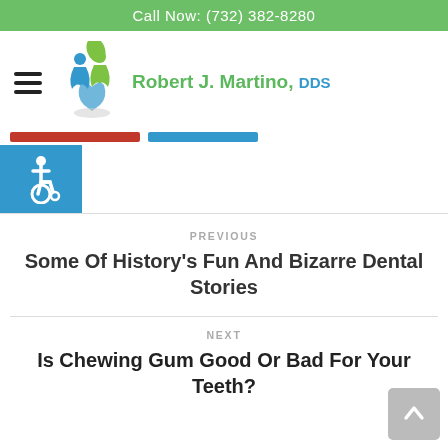Call Now: (732) 382-8280
[Figure (logo): Robert J. Martino DDS dental practice logo with stylized figures and leaf, green and blue colors]
[Figure (illustration): Accessibility icon (wheelchair symbol) on blue background]
PREVIOUS
Some Of History's Fun And Bizarre Dental Stories
NEXT
Is Chewing Gum Good Or Bad For Your Teeth?